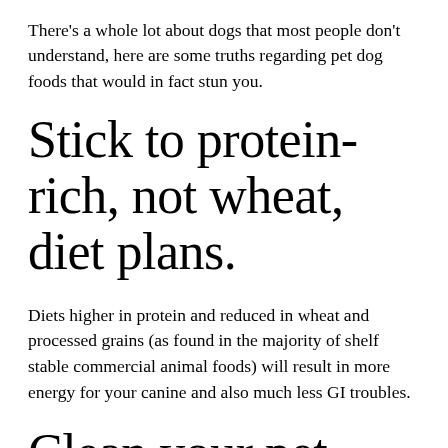There's a whole lot about dogs that most people don't understand, here are some truths regarding pet dog foods that would in fact stun you.
Stick to protein-rich, not wheat, diet plans.
Diets higher in protein and reduced in wheat and processed grains (as found in the majority of shelf stable commercial animal foods) will result in more energy for your canine and also much less GI troubles.
Clean your pet dog's